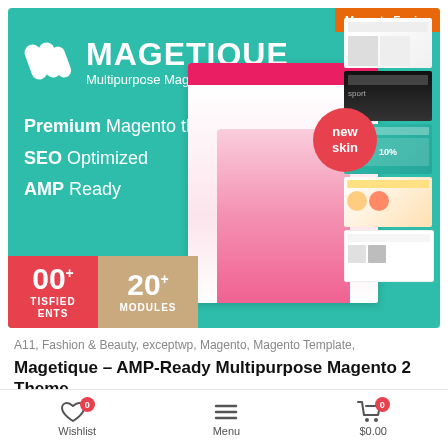[Figure (screenshot): Magetique Multipurpose Magento 2 Theme promotional banner with teal background, logo, feature list, new skin badge, product mockups, and stats showing 100+ satisfied clients and 20+ modules. Orange badge reading 'Magento Engine' in top right.]
A11, Fashion & Beauty, exceptwp, Magento, Magento Template,
Magetique – AMP-Ready Multipurpose Magento 2 Theme
Wishlist  0    Menu    $0.00  0